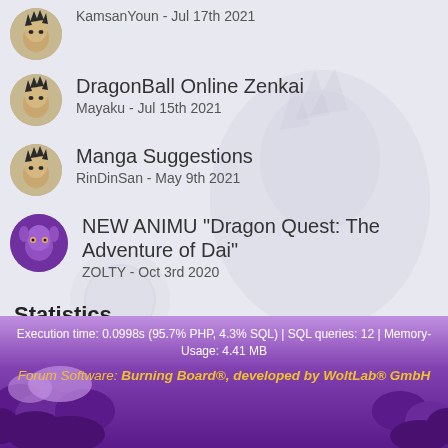KamsanYoun - Jul 17th 2021
DragonBall Online Zenkai
Mayaku - Jul 15th 2021
Manga Suggestions
RinDinSan - May 9th 2021
NEW ANIMU "Dragon Quest: The Adventure of Dai"
ZOLTY - Oct 3rd 2020
Statistics
7 Threads - 21 Posts (0.03 Posts per Day)
Terms of Service  Privacy Policy
Execution time: 0.0998s (95.7% PHP, 4.3% SQL) | SQL queries: 12 | Memory-Usage: 4.41 MB
Forum Software: Burning Board®, developed by WoltLab® GmbH